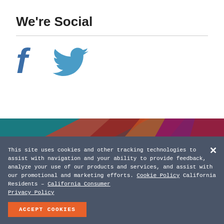We're Social
[Figure (illustration): Facebook and Twitter social media icons in blue]
[Figure (infographic): Decorative diagonal stripe banner in teal, red/orange, and purple gradient colors]
This site uses cookies and other tracking technologies to assist with navigation and your ability to provide feedback, analyze your use of our products and services, and assist with our promotional and marketing efforts. Cookie Policy California Residents – California Consumer Privacy Policy
ACCEPT COOKIES